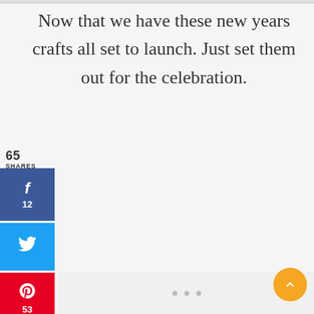Now that we have these new years crafts all set to launch. Just set them out for the celebration.
65 SHARES
[Figure (infographic): Social share buttons: Facebook (f, 12 shares), Twitter (bird icon), Pinterest (P, 53 saves)]
[Figure (infographic): Content loading area with three gray dots and orange back-to-top button with chevron]